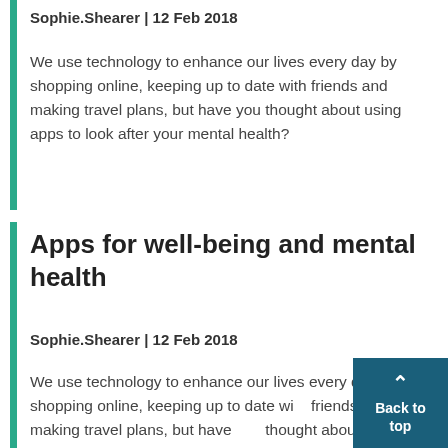Sophie.Shearer | 12 Feb 2018
We use technology to enhance our lives every day by shopping online, keeping up to date with friends and making travel plans, but have you thought about using apps to look after your mental health?
Apps for well-being and mental health
Sophie.Shearer | 12 Feb 2018
We use technology to enhance our lives every day by shopping online, keeping up to date with friends and making travel plans, but have you thought about using apps to look after your mental health?